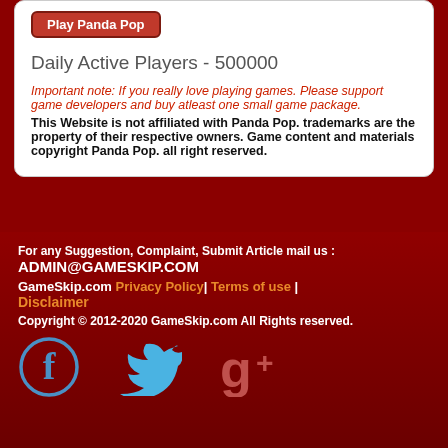[Figure (screenshot): Play Panda Pop button - red rounded rectangle button with white bold text]
Daily Active Players - 500000
Important note: If you really love playing games. Please support game developers and buy atleast one small game package.
This Website is not affiliated with Panda Pop. trademarks are the property of their respective owners. Game content and materials copyright Panda Pop. all right reserved.
For any Suggestion, Complaint, Submit Article mail us : ADMIN@GAMESKIP.COM
GameSkip.com Privacy Policy | Terms of use | Disclaimer
Copyright © 2012-2020 GameSkip.com All Rights reserved.